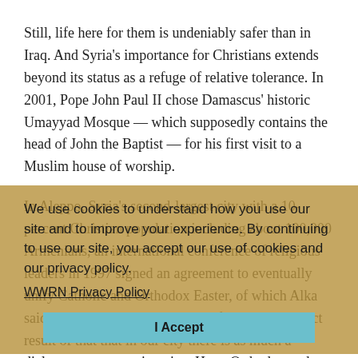Still, life here for them is undeniably safer than in Iraq. And Syria's importance for Christians extends beyond its status as a refuge of relative tolerance. In 2001, Pope John Paul II chose Damascus' historic Umayyad Mosque — which supposedly contains the head of John the Baptist — for his first visit to a Muslim house of worship.
In Aleppo, Syria's second-largest city with a 10-percent Christian population including about 100,000 Armenians, an international conference of religious leaders in 1997 signed an agreement to eventually unify Catholic and Orthodox Easter, of which Alka said Armenians are very much in favor. It is a direct result of that that in our city there is as much a dialogue as you can imagine. Here, Orthodox and Catholics visited each other's churches indiscriminately, said Ghissa, the choir director.
We use cookies to understand how you use our site and to improve your experience. By continuing to use our site, you accept our use of cookies and our privacy policy.
WWRN Privacy Policy
I Accept
I asked the choir director whether the crowd of 2,000-plus for the Passion play will be even larger next year.
"Inshah-Allah," he replied in Arabic — God-willing.